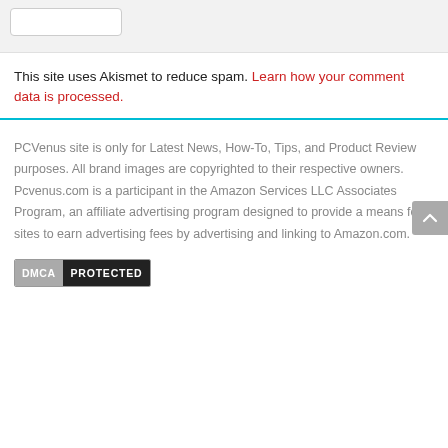[Figure (screenshot): Gray top bar with a rounded rectangle input element]
This site uses Akismet to reduce spam. Learn how your comment data is processed.
PCVenus site is only for Latest News, How-To, Tips, and Product Review purposes. All brand images are copyrighted to their respective owners. Pcvenus.com is a participant in the Amazon Services LLC Associates Program, an affiliate advertising program designed to provide a means for sites to earn advertising fees by advertising and linking to Amazon.com.
[Figure (logo): DMCA PROTECTED badge]